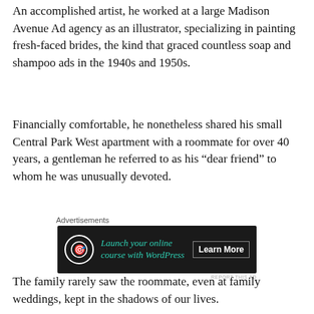An accomplished artist, he worked at a large Madison Avenue Ad agency as an illustrator, specializing in painting fresh-faced brides, the kind that graced countless soap and shampoo ads in the 1940s and 1950s.
Financially comfortable, he nonetheless shared his small Central Park West apartment with a roommate for over 40 years, a gentleman he referred to as his “dear friend” to whom he was unusually devoted.
[Figure (other): Advertisement banner: dark background with circular logo icon, teal italic text 'Launch your online course with WordPress', and 'Learn More' button. Labeled 'Advertisements' above and 'REPORT THIS AD' below.]
The family rarely saw the roommate, even at family weddings, kept in the shadows of our lives.